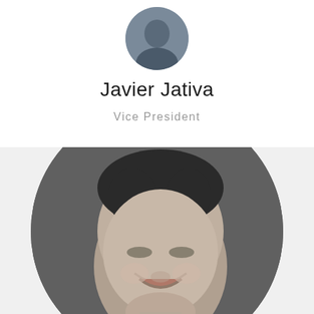[Figure (photo): Circular cropped photo of Javier Jativa, partially visible at top of page]
Javier Jativa
Vice President
[Figure (photo): Large circular black and white portrait photo of a smiling middle-aged man, cropped in a circle on a light gray background]